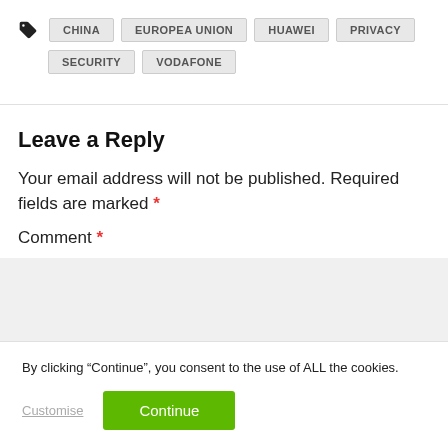CHINA
EUROPEA UNION
HUAWEI
PRIVACY
SECURITY
VODAFONE
Leave a Reply
Your email address will not be published. Required fields are marked *
Comment *
By clicking “Continue”, you consent to the use of ALL the cookies.